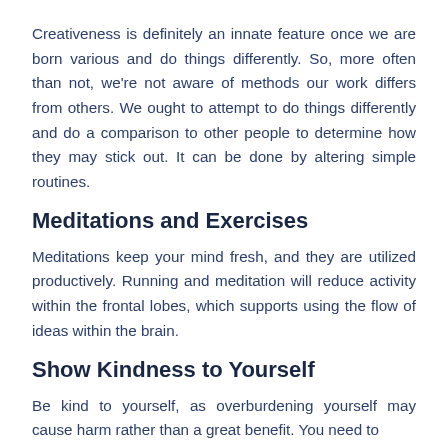Creativeness is definitely an innate feature once we are born various and do things differently. So, more often than not, we're not aware of methods our work differs from others. We ought to attempt to do things differently and do a comparison to other people to determine how they may stick out. It can be done by altering simple routines.
Meditations and Exercises
Meditations keep your mind fresh, and they are utilized productively. Running and meditation will reduce activity within the frontal lobes, which supports using the flow of ideas within the brain.
Show Kindness to Yourself
Be kind to yourself, as overburdening yourself may cause harm rather than a great benefit. You need to